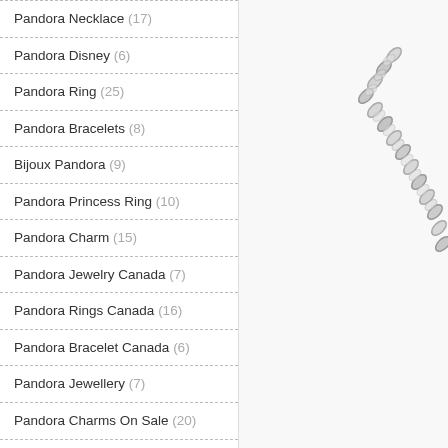Pandora Necklace (17)
Pandora Disney (6)
Pandora Ring (25)
Pandora Bracelets (8)
Bijoux Pandora (9)
Pandora Princess Ring (10)
Pandora Charm (15)
Pandora Jewelry Canada (7)
Pandora Rings Canada (16)
Pandora Bracelet Canada (6)
Pandora Jewellery (7)
Pandora Charms On Sale (20)
Disney Pandora (3)
Pandora Disney Charms (6)
Pandora Canada Charms (16)
[Figure (photo): Close-up photo of a silver jewelry chain, partially visible on the right side of the page]